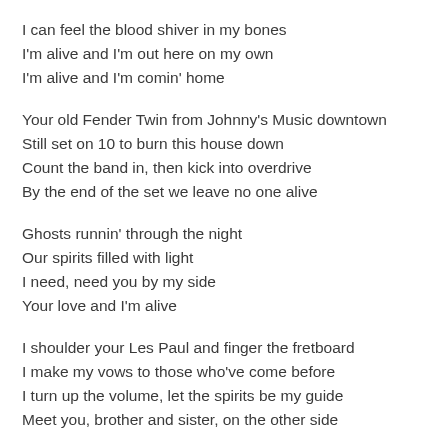I can feel the blood shiver in my bones
I'm alive and I'm out here on my own
I'm alive and I'm comin' home
Your old Fender Twin from Johnny's Music downtown
Still set on 10 to burn this house down
Count the band in, then kick into overdrive
By the end of the set we leave no one alive
Ghosts runnin' through the night
Our spirits filled with light
I need, need you by my side
Your love and I'm alive
I shoulder your Les Paul and finger the fretboard
I make my vows to those who've come before
I turn up the volume, let the spirits be my guide
Meet you, brother and sister, on the other side